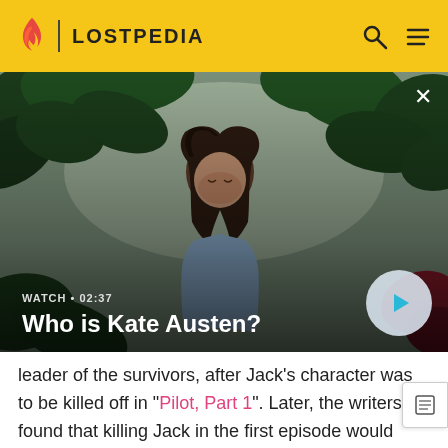LOSTPEDIA
[Figure (screenshot): Video thumbnail showing a woman with dark hair surrounded by tropical leaves. Overlay text: WATCH • 02:37 / Who is Kate Austen? A play button is visible in the lower right of the thumbnail.]
leader of the survivors, after Jack's character was to be killed off in "Pilot, Part 1". Later, the writers found that killing Jack in the first episode would raise feelings of betrayal and anger in the audience. They decided instead to have the pilot killed in Jack's